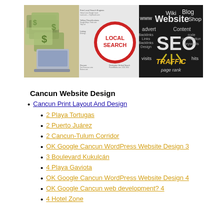[Figure (illustration): Composite image strip: money bills with laptop on left, local search infographic in center, SEO/traffic chalkboard on right]
Cancun Website Design
Cancun Print Layout And Design
2 Playa Tortugas
2 Puerto Juárez
2 Cancun-Tulum Corridor
OK Google Cancun WordPress Website Design 3
3 Boulevard Kukulcán
4 Playa Gaviota
OK Google Cancun WordPress Website Design 4
OK Google Cancun web development? 4
4 Hotel Zone